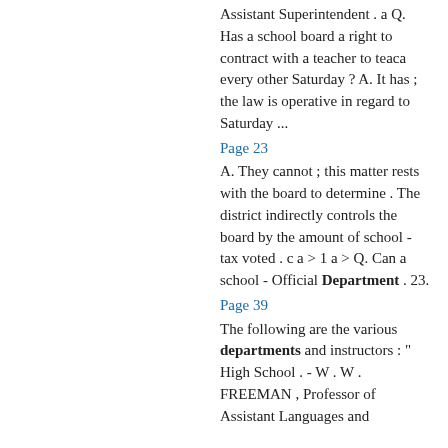Assistant Superintendent . a Q. Has a school board a right to contract with a teacher to teaca every other Saturday ? A. It has ; the law is operative in regard to Saturday ...
Page 23
A. They cannot ; this matter rests with the board to determine . The district indirectly controls the board by the amount of school - tax voted . c a > 1 a > Q. Can a school - Official Department . 23.
Page 39
The following are the various departments and instructors : " High School . - W . W . FREEMAN , Professor of Assistant Languages and